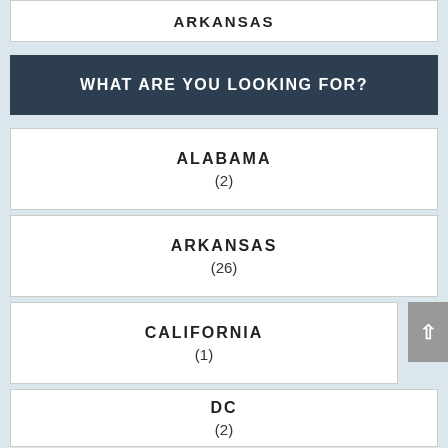ARKANSAS
WHAT ARE YOU LOOKING FOR?
ALABAMA (2)
ARKANSAS (26)
CALIFORNIA (1)
DC (2)
DOG FRIENDLY BEACHES